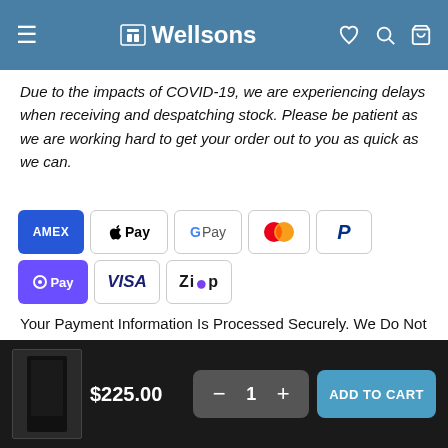Wellsons
Due to the impacts of COVID-19, we are experiencing delays when receiving and despatching stock. Please be patient as we are working hard to get your order out to you as quick as we can.
[Figure (logo): Payment method logos: AMEX, Apple Pay, Google Pay, Mastercard, PayPal, OPay, VISA, Zip]
Your Payment Information Is Processed Securely. We Do Not Store Credit Card Details Nor Have Access To Your Credit Card Information.
$225.00  —  1  +  ADD TO CART